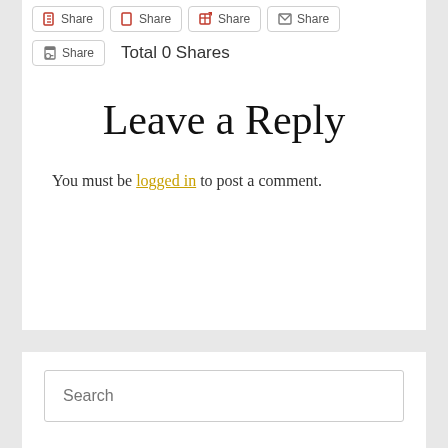[Figure (screenshot): Row of four social share buttons: Facebook Share, Twitter Share, Flipboard Share, Email Share]
[Figure (screenshot): Print Share button followed by 'Total 0 Shares' text]
Leave a Reply
You must be logged in to post a comment.
[Figure (screenshot): Search input box with placeholder text 'Search']